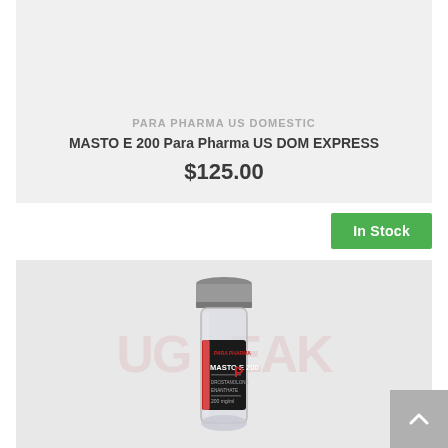PARA PHARMA US DOMESTIC
MASTO E 200 Para Pharma US DOM EXPRESS
$125.00
In Stock
[Figure (photo): A small pharmaceutical vial with a black label reading 'MASTO E 200' and a silver metal cap, overlaid with a UGFREAK watermark.]